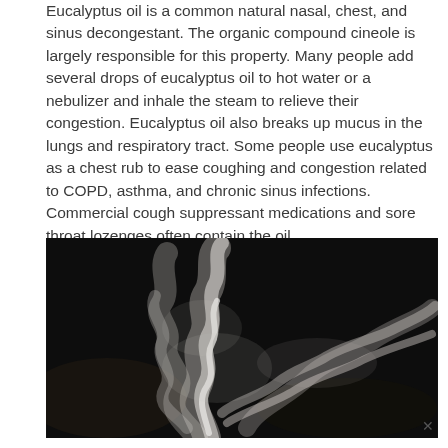Eucalyptus oil is a common natural nasal, chest, and sinus decongestant. The organic compound cineole is largely responsible for this property. Many people add several drops of eucalyptus oil to hot water or a nebulizer and inhale the steam to relieve their congestion. Eucalyptus oil also breaks up mucus in the lungs and respiratory tract. Some people use eucalyptus as a chest rub to ease coughing and congestion related to COPD, asthma, and chronic sinus infections. Commercial cough suppressant medications and sore throat lozenges often contain the oil.
[Figure (photo): A dark background photograph showing white smoke or steam swirling and drifting, suggesting steam inhalation therapy.]